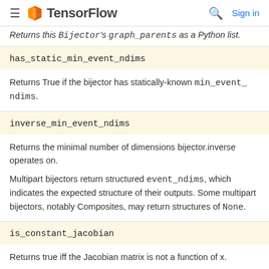TensorFlow — Sign in
Returns this Bijector's graph_parents as a Python list.
has_static_min_event_ndims
Returns True if the bijector has statically-known min_event_ndims.
inverse_min_event_ndims
Returns the minimal number of dimensions bijector.inverse operates on.
Multipart bijectors return structured event_ndims, which indicates the expected structure of their outputs. Some multipart bijectors, notably Composites, may return structures of None.
is_constant_jacobian
Returns true iff the Jacobian matrix is not a function of x.
Note: Jacobian matrix is either constant for both